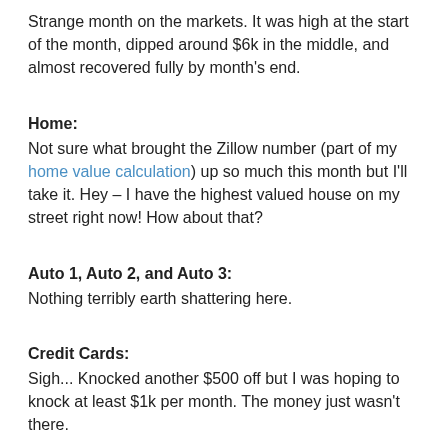Strange month on the markets. It was high at the start of the month, dipped around $6k in the middle, and almost recovered fully by month's end.
Home:
Not sure what brought the Zillow number (part of my home value calculation) up so much this month but I'll take it. Hey – I have the highest valued house on my street right now! How about that?
Auto 1, Auto 2, and Auto 3:
Nothing terribly earth shattering here.
Credit Cards:
Sigh... Knocked another $500 off but I was hoping to knock at least $1k per month. The money just wasn't there.
The good news is that most of it is still at 0% and the balance is falling. I've got to pick up the pace here, or formulate a span, or something, though...